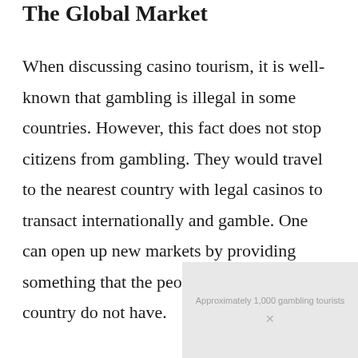The Global Market
When discussing casino tourism, it is well-known that gambling is illegal in some countries. However, this fact does not stop citizens from gambling. They would travel to the nearest country with legal casinos to transact internationally and gamble. One can open up new markets by providing something that the people of another country do not have.
[Figure (other): Partially visible image placeholder with light gray background and faint text overlay, partially cut off at bottom of page]